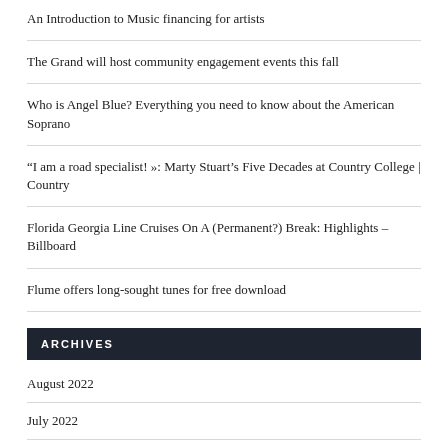An Introduction to Music financing for artists
The Grand will host community engagement events this fall
Who is Angel Blue? Everything you need to know about the American Soprano
“I am a road specialist! »: Marty Stuart’s Five Decades at Country College | Country
Florida Georgia Line Cruises On A (Permanent?) Break: Highlights – Billboard
Flume offers long-sought tunes for free download
ARCHIVES
August 2022
July 2022